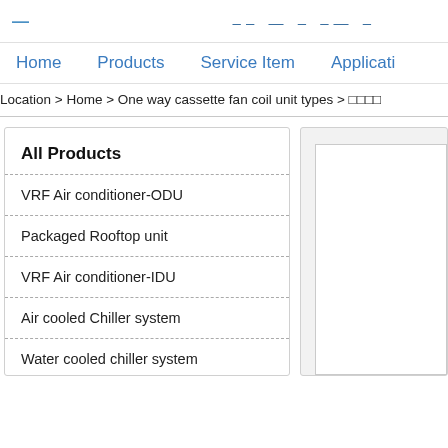— · -- — - -— -
Home   Products   Service Item   Applicati
Location > Home > One way cassette fan coil unit types >
All Products
VRF Air conditioner-ODU
Packaged Rooftop unit
VRF Air conditioner-IDU
Air cooled Chiller system
Water cooled chiller system